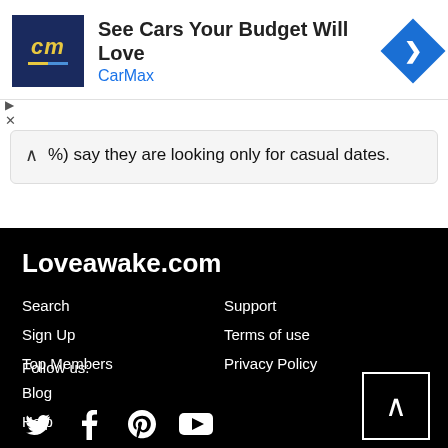[Figure (other): CarMax advertisement banner with logo, headline 'See Cars Your Budget Will Love', brand name 'CarMax', and navigation arrow icon]
(%) say they are looking only for casual dates.
Loveawake.com
Search
Sign Up
Top Members
Blog
Help
Support
Terms of use
Privacy Policy
Follow us:
[Figure (other): Social media icons: Twitter, Facebook, Pinterest, YouTube]